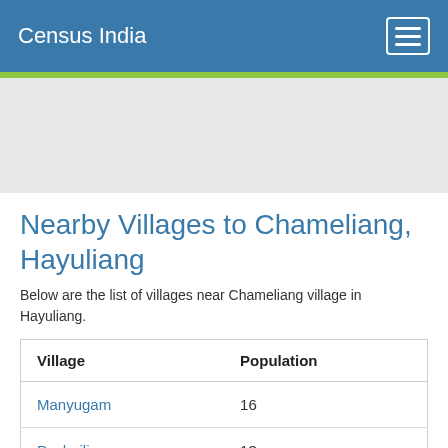Census India
Nearby Villages to Chameliang, Hayuliang
Below are the list of villages near Chameliang village in Hayuliang.
| Village | Population |
| --- | --- |
| Manyugam | 16 |
| Pachailiang | 13 |
| Adomla | 48 |